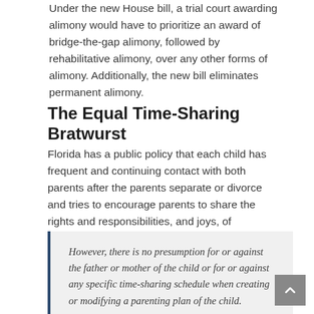Under the new House bill, a trial court awarding alimony would have to prioritize an award of bridge-the-gap alimony, followed by rehabilitative alimony, over any other forms of alimony. Additionally, the new bill eliminates permanent alimony.
The Equal Time-Sharing Bratwurst
Florida has a public policy that each child has frequent and continuing contact with both parents after the parents separate or divorce and tries to encourage parents to share the rights and responsibilities, and joys, of childrearing.
However, there is no presumption for or against the father or mother of the child or for or against any specific time-sharing schedule when creating or modifying a parenting plan of the child.